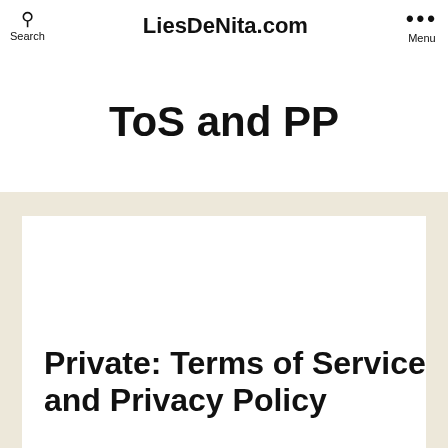Search | LiesDeNita.com | Menu
ToS and PP
Private: Terms of Service and Privacy Policy